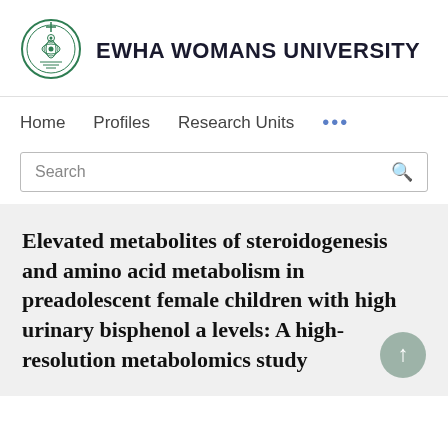[Figure (logo): Ewha Womans University circular seal logo in green]
EWHA WOMANS UNIVERSITY
Home   Profiles   Research Units   ...
Search
Elevated metabolites of steroidogenesis and amino acid metabolism in preadolescent female children with high urinary bisphenol a levels: A high-resolution metabolomics study